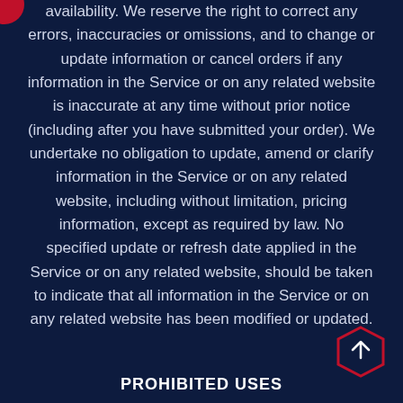availability. We reserve the right to correct any errors, inaccuracies or omissions, and to change or update information or cancel orders if any information in the Service or on any related website is inaccurate at any time without prior notice (including after you have submitted your order). We undertake no obligation to update, amend or clarify information in the Service or on any related website, including without limitation, pricing information, except as required by law. No specified update or refresh date applied in the Service or on any related website, should be taken to indicate that all information in the Service or on any related website has been modified or updated.
PROHIBITED USES